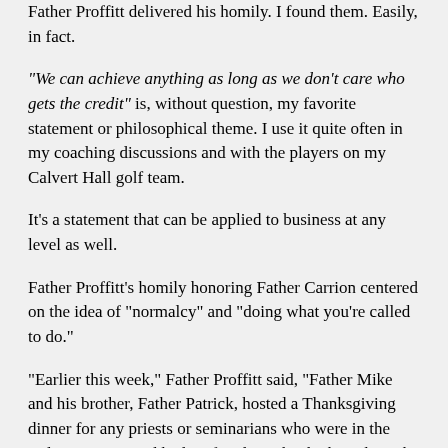Father Proffitt delivered his homily. I found them. Easily, in fact.
"We can achieve anything as long as we don't care who gets the credit" is, without question, my favorite statement or philosophical theme. I use it quite often in my coaching discussions and with the players on my Calvert Hall golf team.
It's a statement that can be applied to business at any level as well.
Father Proffitt's homily honoring Father Carrion centered on the idea of "normalcy" and "doing what you're called to do."
"Earlier this week," Father Proffitt said, "Father Mike and his brother, Father Patrick, hosted a Thanksgiving dinner for any priests or seminarians who were in the Baltimore area and had no family with which to share the holiday meal."